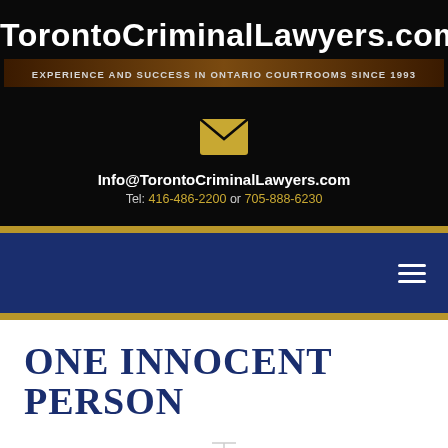TorontoCriminalLawyers.com
EXPERIENCE AND SUCCESS IN ONTARIO COURTROOMS SINCE 1993
[Figure (illustration): Gold envelope email icon]
Info@TorontoCriminalLawyers.com
Tel: 416-486-2200 or 705-888-6230
[Figure (illustration): Navy blue navigation bar with hamburger menu icon (three horizontal white lines) on the right side]
ONE INNOCENT PERSON
[Figure (illustration): Small grey scales of justice icon centered between two horizontal lines]